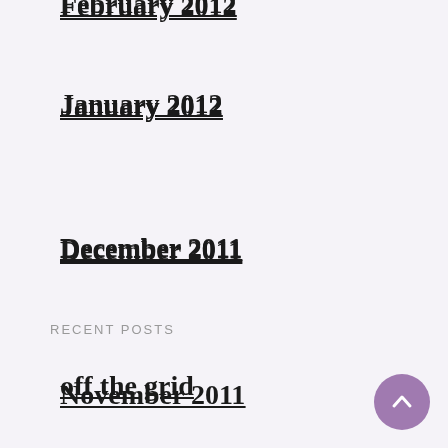February 2012
January 2012
December 2011
November 2011
October 2011
RECENT POSTS
off the grid
I just need a break…